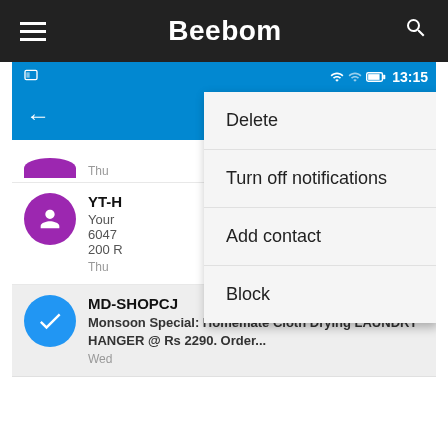[Figure (screenshot): Android messaging app screenshot showing a context menu with options: Delete, Turn off notifications, Add contact, Block. A message list is visible with a YT-H sender and MD-SHOPCJ sender with a promotional message about Monsoon Special Homemate Cloth Drying LAUNDRY HANGER @ Rs 2290.]
Beebom